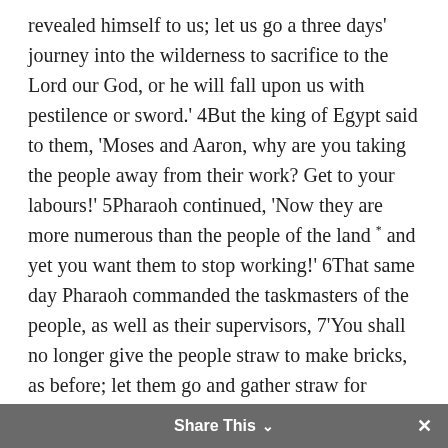revealed himself to us; let us go a three days' journey into the wilderness to sacrifice to the Lord our God, or he will fall upon us with pestilence or sword.' 4But the king of Egypt said to them, 'Moses and Aaron, why are you taking the people away from their work? Get to your labours!' 5Pharaoh continued, 'Now they are more numerous than the people of the land * and yet you want them to stop working!' 6That same day Pharaoh commanded the taskmasters of the people, as well as their supervisors, 7'You shall no longer give the people straw to make bricks, as before; let them go and gather straw for themselves. 8But you shall require of them the same quantity of bricks as they have made previously; do not diminish it, for they are lazy; that is why they cry, "Let us go and offer sacrifice to our God." 9Let heavier work be laid on
Share This